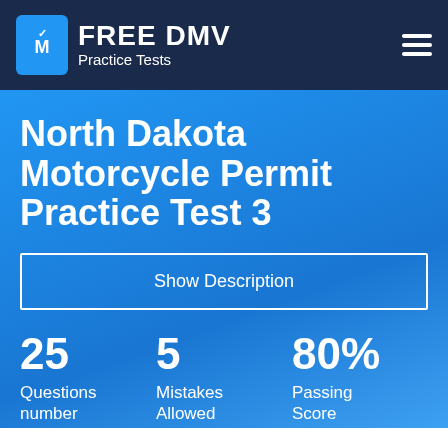FREE DMV Practice Tests
North Dakota Motorcycle Permit Practice Test 3
Show Description
25 Questions number
5 Mistakes Allowed
80% Passing Score
START YOUR PRACTICE TEST NOW